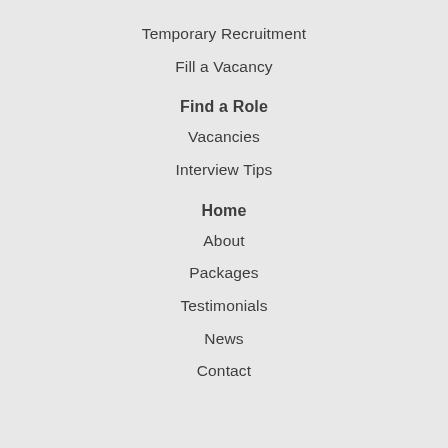Temporary Recruitment
Fill a Vacancy
Find a Role
Vacancies
Interview Tips
Home
About
Packages
Testimonials
News
Contact